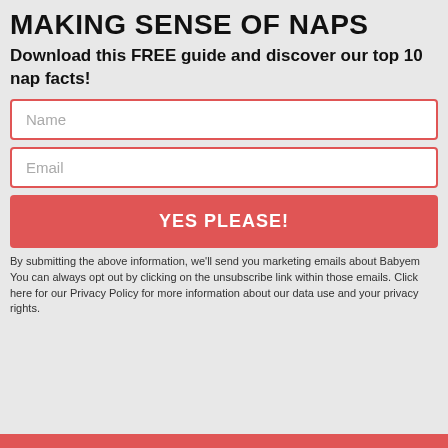MAKING SENSE OF NAPS
Download this FREE guide and discover our top 10 nap facts!
Name
Email
YES PLEASE!
By submitting the above information, we'll send you marketing emails about Babyem You can always opt out by clicking on the unsubscribe link within those emails. Click here for our Privacy Policy for more information about our data use and your privacy rights.